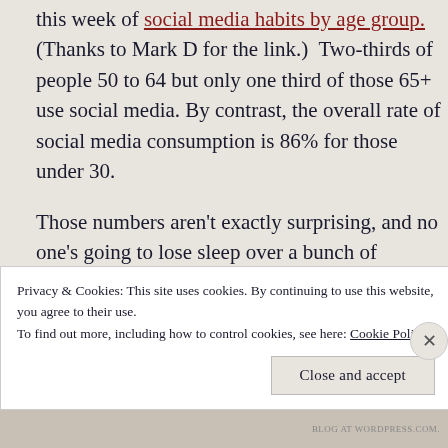this week of social media habits by age group. (Thanks to Mark D for the link.)  Two-thirds of people 50 to 64 but only one third of those 65+ use social media. By contrast, the overall rate of social media consumption is 86% for those under 30.
Those numbers aren't exactly surprising, and no one's going to lose sleep over a bunch of technologically tuned-out boomers, but the follow-on data give pause. The same article
Privacy & Cookies: This site uses cookies. By continuing to use this website, you agree to their use.
To find out more, including how to control cookies, see here: Cookie Policy
Close and accept